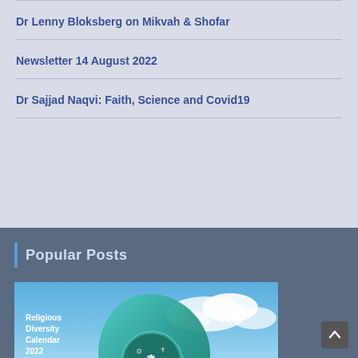Dr Lenny Bloksberg on Mikvah & Shofar
Newsletter 14 August 2022
Dr Sajjad Naqvi: Faith, Science and Covid19
Popular Posts
[Figure (photo): Religious Diversity Calendar 2022 — image showing a teardrop-shaped sculpture with religious symbols, ocean background, with text: The Religious Diversity Centre in Aotearoa New Zealand, www.rdc.org.nz]